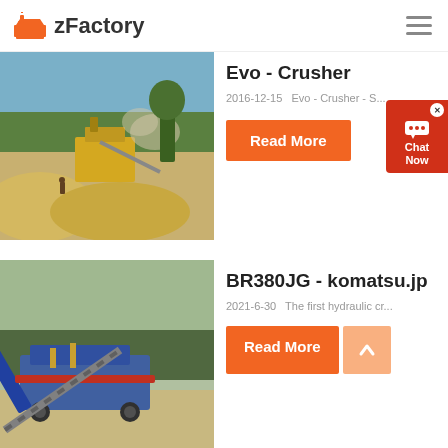zFactory
[Figure (photo): Industrial crusher/quarry site with yellow machinery and sand piles]
Evo - Crusher
2016-12-15   Evo - Crusher - S...
Read More
[Figure (photo): Industrial mobile screening/crushing machine at a riverbank or quarry site]
BR380JG - komatsu.jp
2021-6-30   The first hydraulic cr...
Read More